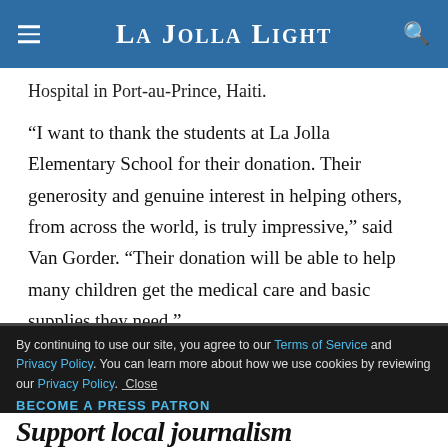La Jolla Light
Hospital in Port-au-Prince, Haiti.
“I want to thank the students at La Jolla Elementary School for their donation. Their generosity and genuine interest in helping others, from across the world, is truly impressive,” said Van Gorder. “Their donation will be able to help many children get the medical care and basic supplies they need.”
By continuing to use our site, you agree to our Terms of Service and Privacy Policy. You can learn more about how we use cookies by reviewing our Privacy Policy. Close
BECOME A PRESS PATRON
Support local journalism